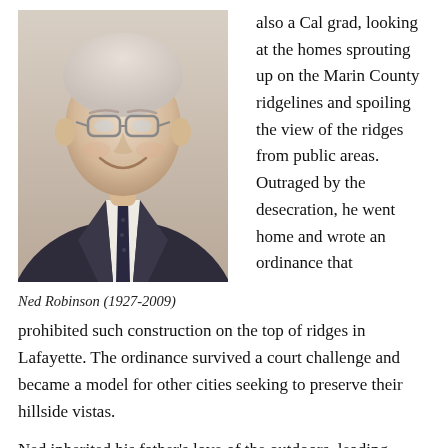[Figure (photo): Portrait photo of Ned Robinson, an older white-haired man wearing glasses, a dark suit and tie, smiling at the camera against a neutral background.]
Ned Robinson (1927-2009)
also a Cal grad, looking at the homes sprouting up on the Marin County ridgelines and spoiling the view of the ridges from public areas. Outraged by the desecration, he went home and wrote an ordinance that prohibited such construction on the top of ridges in Lafayette. The ordinance survived a court challenge and became a model for other cities seeking to preserve their hillside vistas.
Ned inherited his father's love of the outdoors, leading